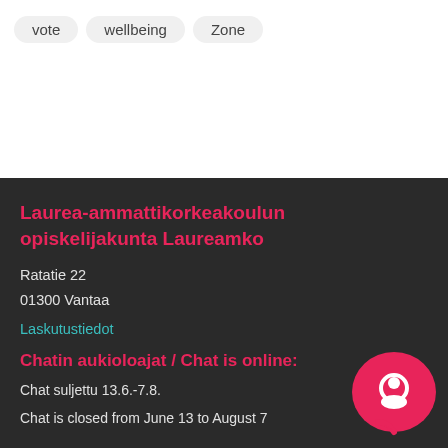vote
wellbeing
Zone
Laurea-ammattikorkeakoulun opiskelijakunta Laureamko
Ratatie 22
01300 Vantaa
Laskutustiedot
Chatin aukioloajat / Chat is online:
Chat suljettu 13.6.-7.8.
Chat is closed from June 13 to August 7
[Figure (logo): Pink circular chat bubble logo with white chat icon]